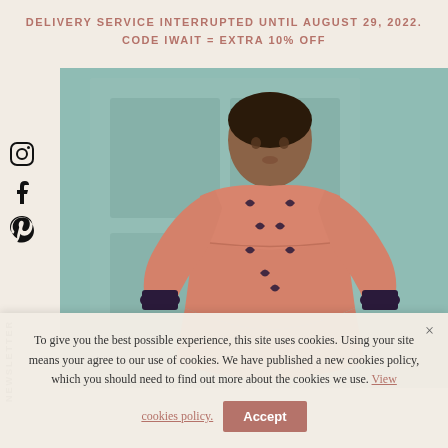DELIVERY SERVICE INTERRUPTED UNTIL AUGUST 29, 2022. CODE IWAIT = EXTRA 10% OFF
[Figure (photo): A young girl wearing a salmon/coral pink long-sleeved dress with dark floral embroidery at the cuffs and scattered pattern on the body, standing in front of a light blue-green door.]
To give you the best possible experience, this site uses cookies. Using your site means your agree to our use of cookies. We have published a new cookies policy, which you should need to find out more about the cookies we use. View cookies policy.
Accept